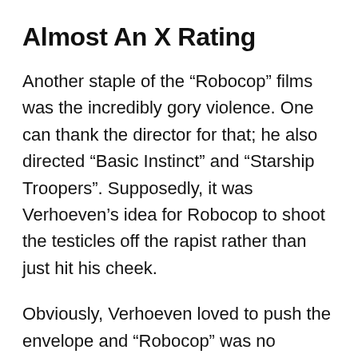Almost An X Rating
Another staple of the “Robocop” films was the incredibly gory violence. One can thank the director for that; he also directed “Basic Instinct” and “Starship Troopers”. Supposedly, it was Verhoeven’s idea for Robocop to shoot the testicles off the rapist rather than just hit his cheek.
Obviously, Verhoeven loved to push the envelope and “Robocop” was no different. The first seven tries submitting the film to